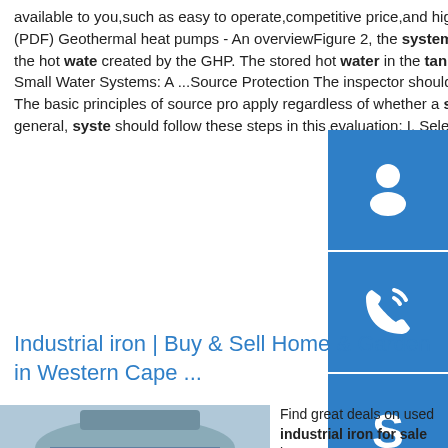available to you,such as easy to operate,competitive price,and high productivity. Double-Wall Heating Oil Tanks Ro ...sp.info (PDF) Geothermal heat pumps - An overviewFigure 2, the system with the buffer tank the mass tank) was provided to store the hot wate created by the GHP. The stored hot water in the tan was then circulated.sp.info How to Conduct a Sanitary S of Small Water Systems: A ...Source Protection The inspector should evaluate the system's efforts to protect its water source. The basic principles of source pro apply regardless of whether a system has a groun supply or surface water supply. In general, syste should follow these steps in this evaluation: I. Select a planning team. 2.
[Figure (illustration): Blue sidebar with three icons: customer service/headset icon, phone icon, and Skype icon, each in a blue square button]
Industrial iron | Buy & Sell Home & Garden in Western Cape ...
[Figure (photo): Partial photo of an industrial iron or similar metal structure]
Find great deals on used industrial iron for sale in